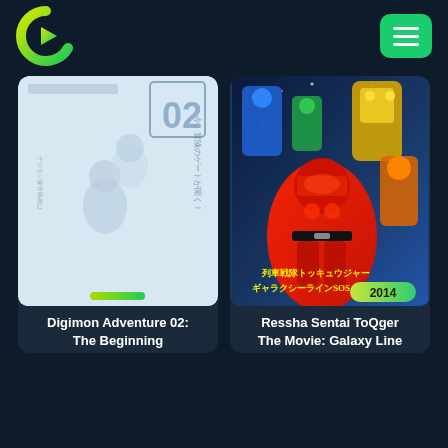[Figure (logo): Crunchyroll-style C logo with play button, yellow-green gradient]
[Figure (other): Green hamburger menu button]
[Figure (photo): Digimon Adventure 02: The Beginning movie poster - light blue sketch art with Japanese text]
[Figure (photo): Ressha Sentai ToQger The Movie: Galaxy Line SOS 2014 poster - colorful super sentai characters]
Digimon Adventure 02:
The Beginning
Ressha Sentai ToQger
The Movie: Galaxy Line